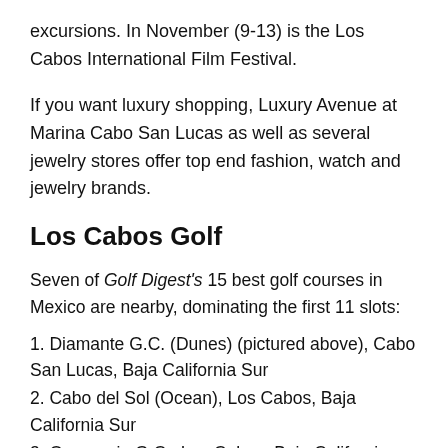excursions. In November (9-13) is the Los Cabos International Film Festival.
If you want luxury shopping, Luxury Avenue at Marina Cabo San Lucas as well as several jewelry stores offer top end fashion, watch and jewelry brands.
Los Cabos Golf
Seven of Golf Digest's 15 best golf courses in Mexico are nearby, dominating the first 11 slots:
1. Diamante G.C. (Dunes) (pictured above), Cabo San Lucas, Baja California Sur
2. Cabo del Sol (Ocean), Los Cabos, Baja California Sur
3. Querencia G.C., Los Cabos, Baja California Sur
4. Quivira G.C., Cabo San Lucas, Baja California Sur
7. El Dorado G. & Beach C., Los Cabos, Baja California Sur